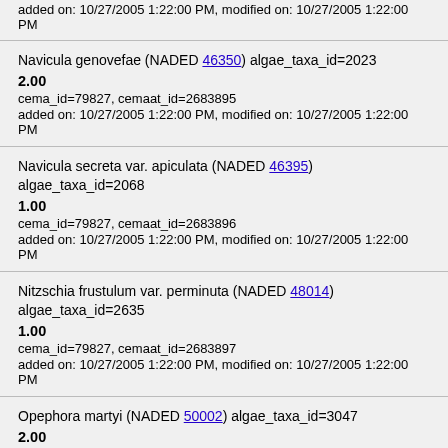added on: 10/27/2005 1:22:00 PM, modified on: 10/27/2005 1:22:00 PM
Navicula genovefae (NADED 46350) algae_taxa_id=2023
2.00
cema_id=79827, cemaat_id=2683895
added on: 10/27/2005 1:22:00 PM, modified on: 10/27/2005 1:22:00 PM
Navicula secreta var. apiculata (NADED 46395) algae_taxa_id=2068
1.00
cema_id=79827, cemaat_id=2683896
added on: 10/27/2005 1:22:00 PM, modified on: 10/27/2005 1:22:00 PM
Nitzschia frustulum var. perminuta (NADED 48014) algae_taxa_id=2635
1.00
cema_id=79827, cemaat_id=2683897
added on: 10/27/2005 1:22:00 PM, modified on: 10/27/2005 1:22:00 PM
Opephora martyi (NADED 50002) algae_taxa_id=3047
2.00
cema_id=79827, cemaat_id=2683898